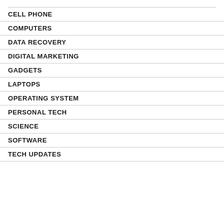CELL PHONE
COMPUTERS
DATA RECOVERY
DIGITAL MARKETING
GADGETS
LAPTOPS
OPERATING SYSTEM
PERSONAL TECH
SCIENCE
SOFTWARE
TECH UPDATES